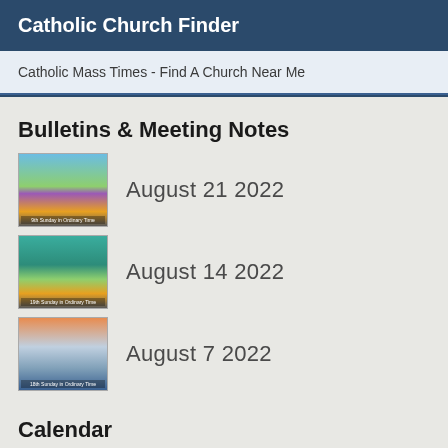Catholic Church Finder
Catholic Mass Times - Find A Church Near Me
Bulletins & Meeting Notes
August 21 2022
August 14 2022
August 7 2022
Calendar